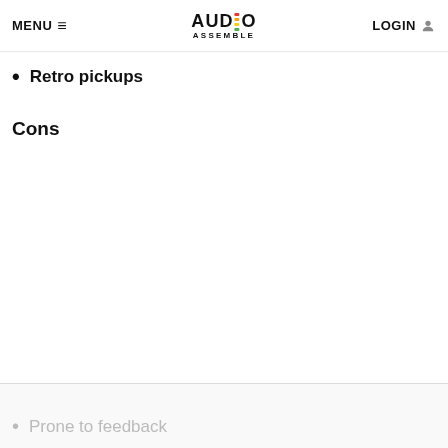MENU ≡  AUDIO ASSEMBLE  LOGIN
Retro pickups
Cons
Prone to feedback